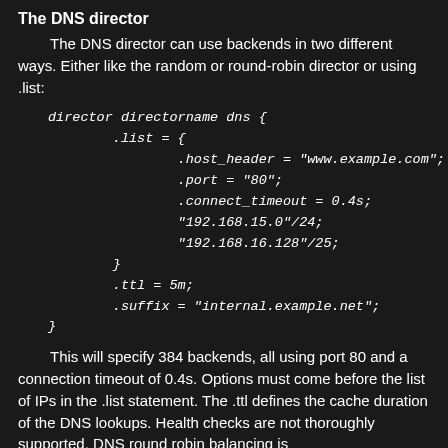The DNS director
The DNS director can use backends in two different ways. Either like the random or round-robin director or using .list:
director directorname dns {
    .list = {
            .host_header = "www.example.com";
            .port = "80";
            .connect_timeout = 0.4s;
            "192.168.15.0"/24;
            "192.168.16.128"/25;
    }
    .ttl = 5m;
    .suffix = "internal.example.net";
}
This will specify 384 backends, all using port 80 and a connection timeout of 0.4s. Options must come before the list of IPs in the .list statement. The .ttl defines the cache duration of the DNS lookups. Health checks are not thoroughly supported. DNS round robin balancing is